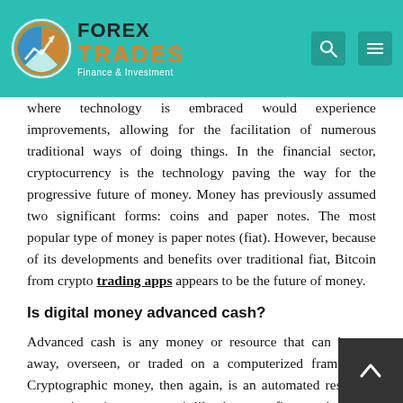FOREX TRADES Finance & Investment
where technology is embraced would experience improvements, allowing for the facilitation of numerous traditional ways of doing things. In the financial sector, cryptocurrency is the technology paving the way for the progressive future of money. Money has previously assumed two significant forms: coins and paper notes. The most popular type of money is paper notes (fiat). However, because of its developments and benefits over traditional fiat, Bitcoin from crypto trading apps appears to be the future of money.
Is digital money advanced cash?
Advanced cash is any money or resource that can be put away, overseen, or traded on a computerized framework. Cryptographic money, then again, is an automated resource, you can't see it nor contact it like the paper fiat, yet the worth is quantifiable. A portion of the well-known cryptographic forms of money is Bitcoin, Ethereum, Cardano, Litecoin, etc. For instance, you can purchase Eth being advanced cash, store and trade it for fiat on investment apps